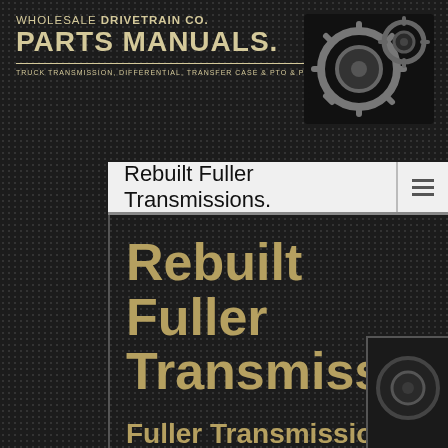WHOLESALE DRIVETRAIN CO. PARTS MANUALS. TRUCK TRANSMISSION, DIFFERENTIAL, TRANSFER CASE & PTO & PARTS & SERVICE MANUALS.
Rebuilt Fuller Transmissions.
Rebuilt Fuller Transmissions.
Fuller Transmission on sale with worldwide delivery from the USA.
Eaton Fuller Heavy Duty and Mid Range units on sale. We stock all models.